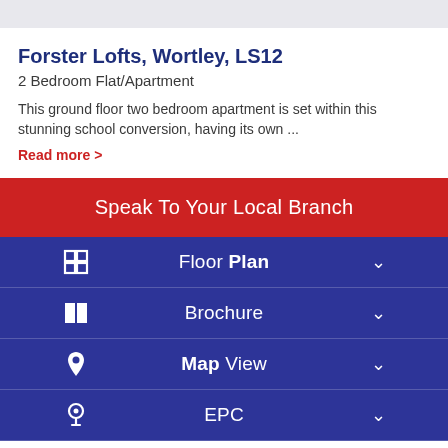Forster Lofts, Wortley, LS12
2 Bedroom Flat/Apartment
This ground floor two bedroom apartment is set within this stunning school conversion, having its own ...
Read more >
Speak To Your Local Branch
Floor Plan
Brochure
Map View
EPC